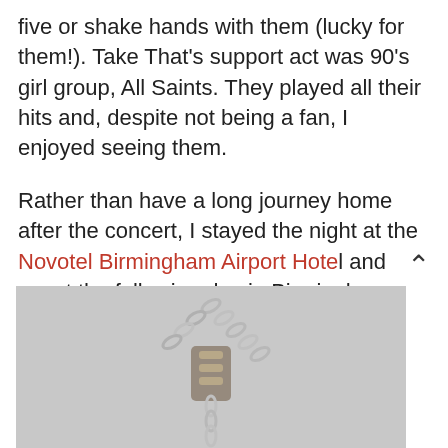five or shake hands with them (lucky for them!). Take That's support act was 90's girl group, All Saints. They played all their hits and, despite not being a fan, I enjoyed seeing them.
Rather than have a long journey home after the concert, I stayed the night at the Novotel Birmingham Airport Hotel and spent the following day in Birmingham (including visiting the Pen Museum).
[Figure (photo): Close-up photo of a silver chain necklace with a charm or pendant, against a grey background.]